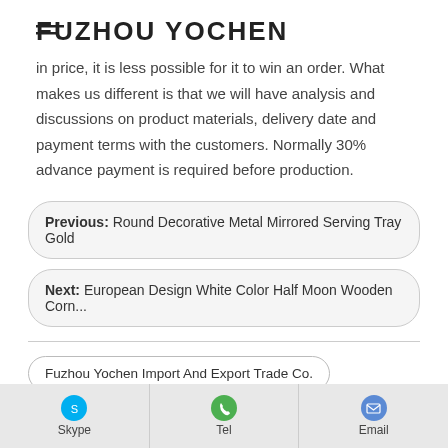FUZHOU YOCHEN
in price, it is less possible for it to win an order. What makes us different is that we will have analysis and discussions on product materials, delivery date and payment terms with the customers. Normally 30% advance payment is required before production.
Previous:  Round Decorative Metal Mirrored Serving Tray Gold
Next:  European Design White Color Half Moon Wooden Corn...
Fuzhou Yochen Import And Export Trade Co.
Large Wall Mirror Morocco Round Gold
High Quality morocco mirror
morocco mirror YL17B013 Details   Skype   Tel   Email